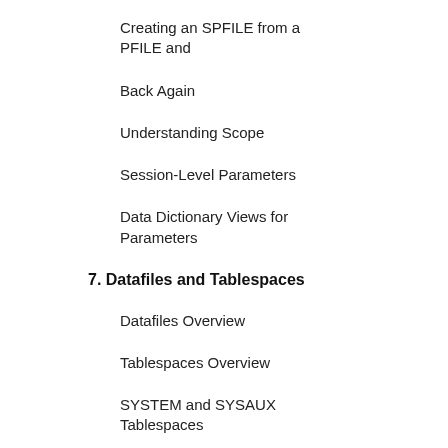Creating an SPFILE from a PFILE and
Back Again
Understanding Scope
Session-Level Parameters
Data Dictionary Views for Parameters
7. Datafiles and Tablespaces
Datafiles Overview
Tablespaces Overview
SYSTEM and SYSAUX Tablespaces
Creating Tablespaces